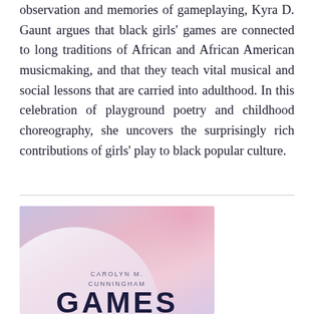observation and memories of gameplaying, Kyra D. Gaunt argues that black girls' games are connected to long traditions of African and African American musicmaking, and that they teach vital musical and social lessons that are carried into adulthood. In this celebration of playground poetry and childhood choreography, she uncovers the surprisingly rich contributions of girls' play to black popular culture.
[Figure (illustration): Book cover with soft pastel gradient background in lavender, pink and white tones. Author name 'CAROLYN M. CUNNINGHAM' in small spaced caps. Partial book title 'GAMES' visible at bottom in large bold dark navy letters.]